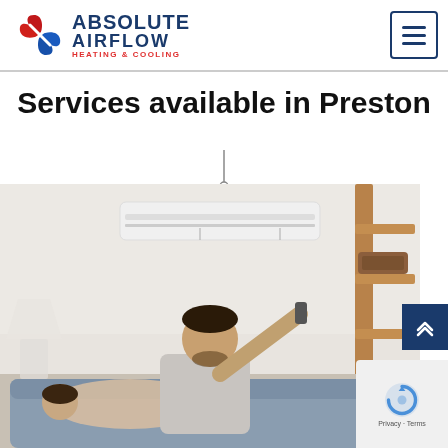Absolute Airflow Heating & Cooling
Services available in Preston
[Figure (photo): A man and woman sitting on a couch, man pointing a remote control up at a wall-mounted air conditioning unit. Background shows a white room with a wooden ladder shelf.]